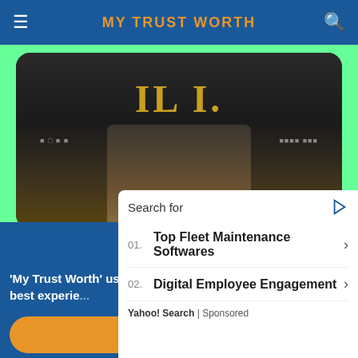MY TRUST WORTH
[Figure (photo): Movie poster with dark background showing a person in military/patterned clothing with large stylized text at top]
D.P. - HINDI
[Figure (photo): Movie poster showing a woman's face from forehead up with golden/orange sky background]
Scroll: 59%
'My Trust Worth' uses cookies to ensure you get the best experie...
Search for
01. Top Fleet Maintenance Softwares
02. Digital Employee Engagement
Yahoo! Search | Sponsored